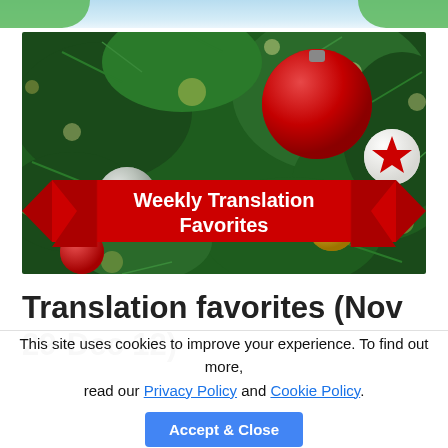[Figure (photo): Christmas tree decorations with red and gold ornaments, pine branches with bokeh lights in the background. A red ribbon banner overlaid with the text 'Weekly Translation Favorites' in white bold font.]
Translation favorites (Nov 29-Dec 12)
This site uses cookies to improve your experience. To find out more, read our Privacy Policy and Cookie Policy.
Accept & Close